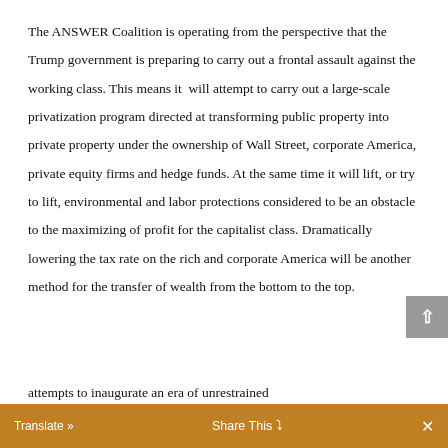The ANSWER Coalition is operating from the perspective that the Trump government is preparing to carry out a frontal assault against the working class. This means it will attempt to carry out a large-scale privatization program directed at transforming public property into private property under the ownership of Wall Street, corporate America, private equity firms and hedge funds. At the same time it will lift, or try to lift, environmental and labor protections considered to be an obstacle to the maximizing of profit for the capitalist class. Dramatically lowering the tax rate on the rich and corporate America will be another method for the transfer of wealth from the bottom to the top.
attempts to inaugurate an era of unrestrained